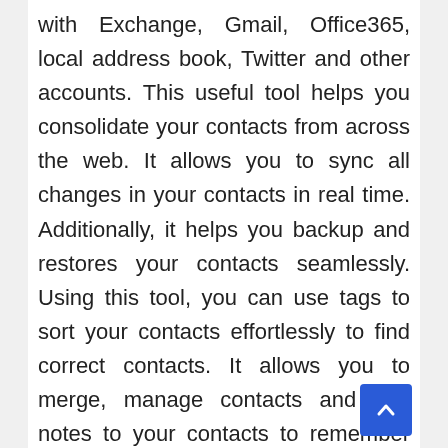with Exchange, Gmail, Office365, local address book, Twitter and other accounts. This useful tool helps you consolidate your contacts from across the web. It allows you to sync all changes in your contacts in real time. Additionally, it helps you backup and restores your contacts seamlessly. Using this tool, you can use tags to sort your contacts effortlessly to find correct contacts. It allows you to merge, manage contacts and add notes to your contacts to remember important details. Further, it automatically adds social profiles, photos, company profile and latest social media posts to your contacts to help you know your contact well.